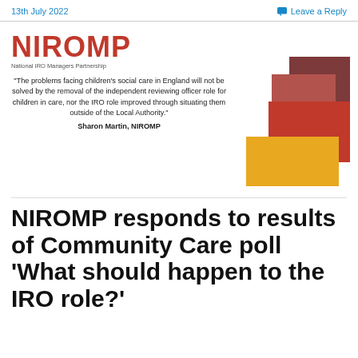13th July 2022
Leave a Reply
[Figure (logo): NIROMP logo — red bold text 'NIROMP' with tagline 'National IRO Managers Partnership']
"The problems facing children's social care in England will not be solved by the removal of the independent reviewing officer role for children in care, nor the IRO role improved through situating them outside of the Local Authority." Sharon Martin, NIROMP
[Figure (illustration): Stacked overlapping colored rectangles in dark brown, mauve-red, bright red, and golden orange forming a decorative graphic]
NIROMP responds to results of Community Care poll 'What should happen to the IRO role?'